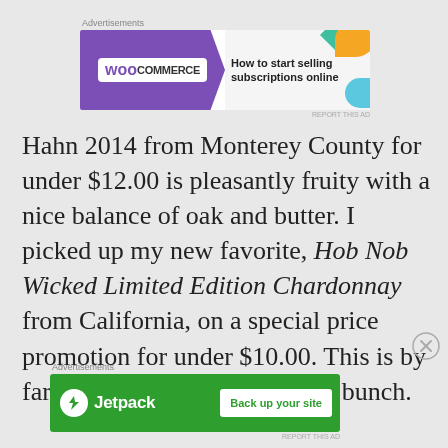[Figure (screenshot): WooCommerce advertisement banner: purple background with WooCommerce logo on left, text 'How to start selling subscriptions online' on right with decorative shapes]
Hahn 2014 from Monterey County for under $12.00 is pleasantly fruity with a nice balance of oak and butter. I picked up my new favorite, Hob Nob Wicked Limited Edition Chardonnay from California, on a special price promotion for under $10.00. This is by far the best flavor value of the bunch.
[Figure (screenshot): Jetpack advertisement banner: green background with Jetpack logo on left and 'Back up your site' button on right]